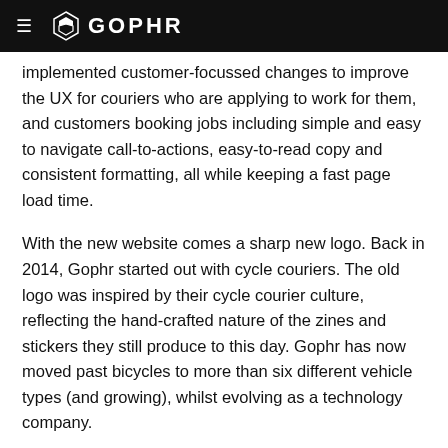≡ GOPHR
implemented customer-focussed changes to improve the UX for couriers who are applying to work for them, and customers booking jobs including simple and easy to navigate call-to-actions, easy-to-read copy and consistent formatting, all while keeping a fast page load time.
With the new website comes a sharp new logo. Back in 2014, Gophr started out with cycle couriers. The old logo was inspired by their cycle courier culture, reflecting the hand-crafted nature of the zines and stickers they still produce to this day. Gophr has now moved past bicycles to more than six different vehicle types (and growing), whilst evolving as a technology company.